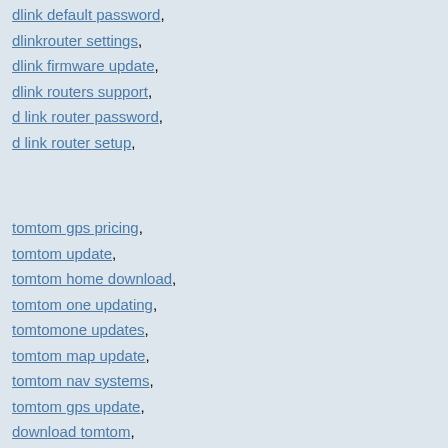dlink default password,
dlinkrouter settings,
dlink firmware update,
dlink routers support,
d link router password,
d link router setup,
tomtom gps pricing,
tomtom update,
tomtom home download,
tomtom one updating,
tomtomone updates,
tomtom map update,
tomtom nav systems,
tomtom gps update,
download tomtom,
how to update a tomtom gps,
tomtom updates,
how do i update my tomtom maps for free?,
tomtom com update,